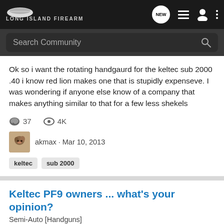Long Island Firearms
Ok so i want the rotating handgaurd for the keltec sub 2000 .40 i know red lion makes one that is stupidly expenseve. I was wondering if anyone else know of a company that makes anything similar to that for a few less shekels
37 comments · 4K views
akmax · Mar 10, 2013
keltec  sub 2000
Keltec PF9 owners ... what's your opinion?
Semi-Auto [Handguns]
Those of you that own a Keltec PF9, what is your opinion of this gun? 1. As a first handgun to learn shooting? 2. As a concealed carry? 3. Ease of maintenance? 4. To use as a